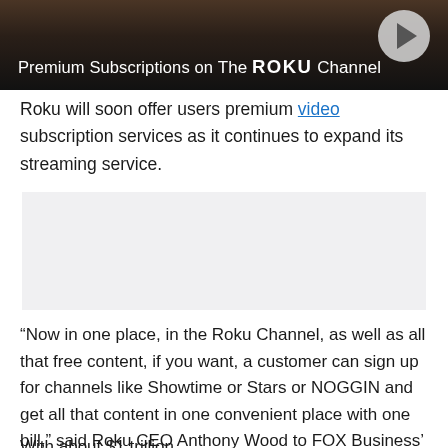[Figure (screenshot): Video thumbnail banner with dark background showing 'Premium Subscriptions on The Roku Channel' text and a play button in the top right corner.]
Roku will soon offer users premium video subscription services as it continues to expand its streaming service.
[Figure (other): Advertisement placeholder block with light gray background.]
“Now in one place, in the Roku Channel, as well as all that free content, if you want, a customer can sign up for channels like Showtime or Stars or NOGGIN and get all that content in one convenient place with one bill,” said Roku CEO Anthony Wood to FOX Business’ Charles Payne on “Varney & Co.” on Thursday.
With about $1 trillion...